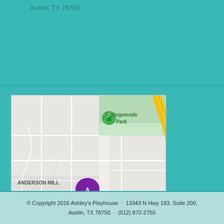Austin, TX 78750
[Figure (map): Google Map showing Anderson Mill area in Austin, TX. A purple marker labeled 'A' and an orange restaurant marker labeled 'Main Event Austin' are visible. Springwoods Park with a green tree icon is shown. Highway 183 runs through the map. Google logo and 'Map data ©2022 Google' credit are visible.]
© Copyright 2016 Ashley's Playhouse · 13343 N Hwy 183, Suite 200, Austin, TX 78750 · (512) 872-2755